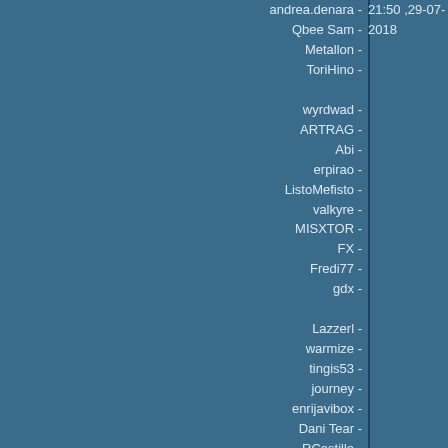| Username | Timestamp |
| --- | --- |
| andrea.denara - | 21:50 ,29-07-2018 |
| Qbee Sam - |  |
| Metallon - |  |
| ToriHino - |  |
|  |  |
| wyrdwad - |  |
| ARTRAG - |  |
| Abi - |  |
| erpirao - |  |
| ListoMefisto - |  |
| valkyre - |  |
| MISXTOR - |  |
| FX - |  |
| Fredi77 - |  |
| gdx - |  |
|  |  |
| Lazzerl - |  |
| warmize - |  |
| tingis53 - |  |
| journey - |  |
| enrijavibox - |  |
| Dani Tear - |  |
| RCastillo - |  |
| DelToro - |  |
| mgoulart - |  |
| ric... |  |